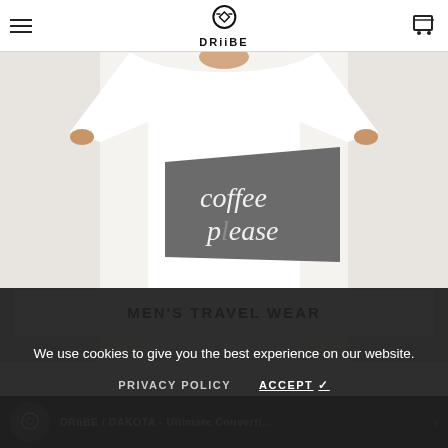DRiiBE
[Figure (photo): Person wearing a white t-shirt with a gray rectangular graphic patch reading 'coffee please' in white text. Light gray/white background. Men's travel wear product photo.]
MEN'S TRAVEL WEAR
We use cookies to give you the best experience on our website.
PRIVACY POLICY   ACCEPT ✓
DRiiBE / DAKOTA - Ultimate Converti...